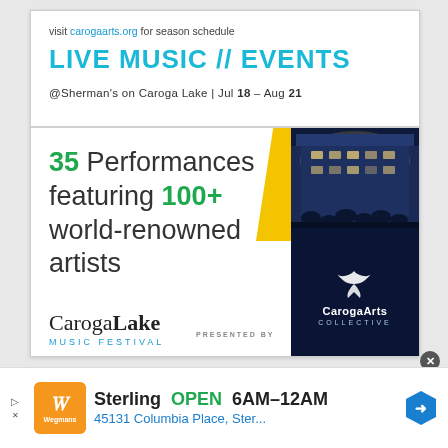visit carogaarts.org for season schedule
LIVE MUSIC // EVENTS
@Sherman's on Caroga Lake | Jul 18 – Aug 21
35 Performances featuring 100+ world-renowned artists
[Figure (logo): Caroga Lake Music Festival logo with CarogaArts Collective presented by logo]
Sterling  OPEN  6AM–12AM  45131 Columbia Place, Ster...